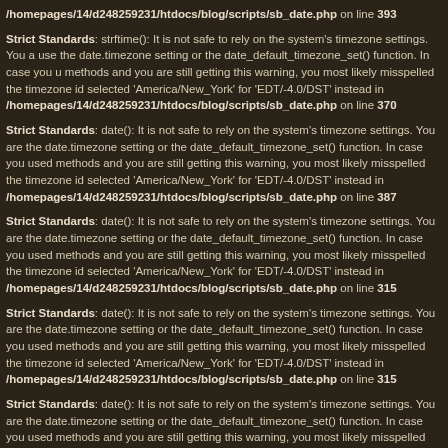/homepages/14/d248259231/htdocs/blog/scripts/sb_date.php on line 393
Strict Standards: strftime(): It is not safe to rely on the system's timezone settings. You are ... use the date.timezone setting or the date_default_timezone_set() function. In case you u... methods and you are still getting this warning, you most likely misspelled the timezone id... selected 'America/New_York' for 'EDT/-4.0/DST' instead in /homepages/14/d248259231/htdocs/blog/scripts/sb_date.php on line 370
Strict Standards: date(): It is not safe to rely on the system's timezone settings. You are ... the date.timezone setting or the date_default_timezone_set() function. In case you used ... methods and you are still getting this warning, you most likely misspelled the timezone id... selected 'America/New_York' for 'EDT/-4.0/DST' instead in /homepages/14/d248259231/htdocs/blog/scripts/sb_date.php on line 387
Strict Standards: date(): It is not safe to rely on the system's timezone settings. You are ... the date.timezone setting or the date_default_timezone_set() function. In case you used ... methods and you are still getting this warning, you most likely misspelled the timezone id... selected 'America/New_York' for 'EDT/-4.0/DST' instead in /homepages/14/d248259231/htdocs/blog/scripts/sb_date.php on line 315
Strict Standards: date(): It is not safe to rely on the system's timezone settings. You are ... the date.timezone setting or the date_default_timezone_set() function. In case you used ... methods and you are still getting this warning, you most likely misspelled the timezone id... selected 'America/New_York' for 'EDT/-4.0/DST' instead in /homepages/14/d248259231/htdocs/blog/scripts/sb_date.php on line 315
Strict Standards: date(): It is not safe to rely on the system's timezone settings. You are ... the date.timezone setting or the date_default_timezone_set() function. In case you used ... methods and you are still getting this warning, you most likely misspelled the timezone id... selected 'America/New_York' for 'EDT/-4.0/DST' instead in /homepages/14/d248259231/htdocs/blog/scripts/sb_date.php on line 316
Strict Standards: Non-static method fileio::read_file() should not be called statically in /homepages/14/d248259231/htdocs/blog/scripts/sb_fileio.php on line 13
Strict Standards: strftime(): It is not safe to rely on the system's timezone settings. You a... use the date.timezone setting or the date_default_timezone_set() function. In case you u...